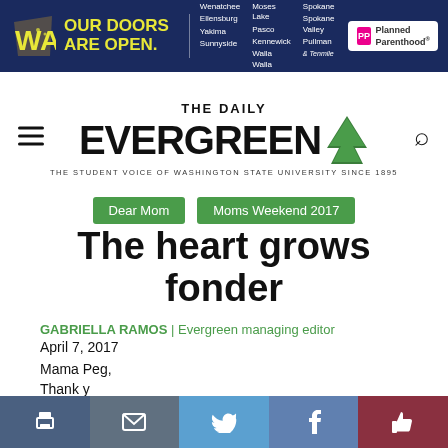[Figure (infographic): Planned Parenthood advertisement banner: dark navy background with yellow Washington state outline logo, bold yellow text 'OUR DOORS ARE OPEN.' with list of locations (Wenatchee, Ellensburg, Yakima, Sunnyside, Moses Lake, Pasco, Kennewick, Walla Walla, Spokane, Spokane Valley, Pullman & Tenmile) and Planned Parenthood logo on white rounded rectangle.]
[Figure (logo): The Daily Evergreen masthead: hamburger menu icon on left, large bold text 'THE DAILY EVERGREEN' with green tree icon, tagline 'THE STUDENT VOICE OF WASHINGTON STATE UNIVERSITY SINCE 1895', search icon on right.]
Dear Mom   Moms Weekend 2017
The heart grows fonder
GABRIELLA RAMOS | Evergreen managing editor
April 7, 2017
Mama Peg,
Thank y
[Figure (infographic): Social sharing bar at bottom: print icon (dark slate), email icon (slate), Twitter bird icon (light blue), Facebook f icon (medium blue), thumbs-up icon (dark red/maroon).]